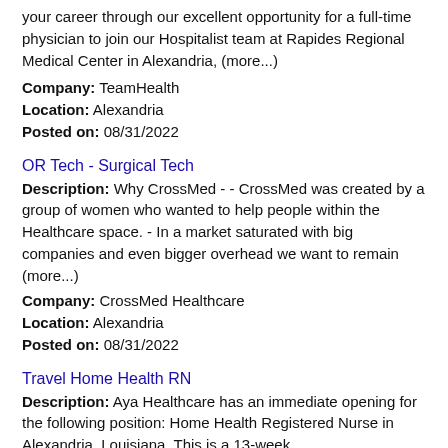your career through our excellent opportunity for a full-time physician to join our Hospitalist team at Rapides Regional Medical Center in Alexandria, (more...)
Company: TeamHealth
Location: Alexandria
Posted on: 08/31/2022
OR Tech - Surgical Tech
Description: Why CrossMed - - CrossMed was created by a group of women who wanted to help people within the Healthcare space. - In a market saturated with big companies and even bigger overhead we want to remain (more...)
Company: CrossMed Healthcare
Location: Alexandria
Posted on: 08/31/2022
Travel Home Health RN
Description: Aya Healthcare has an immediate opening for the following position: Home Health Registered Nurse in Alexandria, Louisiana. This is a 13-week
Company: Aya Healthcare
Location: Alexandria
Posted on: 08/31/2022